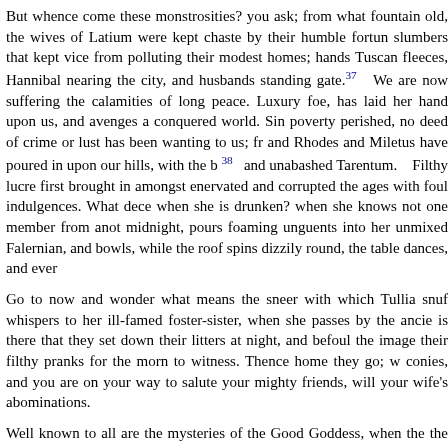But whence come these monstrosities? you ask; from what fountain old, the wives of Latium were kept chaste by their humble fortun slumbers that kept vice from polluting their modest homes; hands Tuscan fleeces, Hannibal nearing the city, and husbands standing gate.[37] We are now suffering the calamities of long peace. Luxury foe, has laid her hand upon us, and avenges a conquered world. Sin poverty perished, no deed of crime or lust has been wanting to us; fr and Rhodes and Miletus have poured in upon our hills, with the b[38] and unabashed Tarentum. Filthy lucre first brought in amongst enervated and corrupted the ages with foul indulgences. What dece when she is drunken? when she knows not one member from anot midnight, pours foaming unguents into her unmixed Falernian, and bowls, while the roof spins dizzily round, the table dances, and ever
Go to now and wonder what means the sneer with which Tullia snuf whispers to her ill-famed foster-sister, when she passes by the ancie is there that they set down their litters at night, and befoul the image their filthy pranks for the morn to witness. Thence home they go; w conies, and you are on your way to salute your mighty friends, will your wife's abominations.
Well known to all are the mysteries of the Good Goddess, when the the Maenads of Priapus sweep along, frenzied alike by the horn whirling their locks and howling. What foul longings burn within t theutter on the couincidit to within! How abandoned their lidit